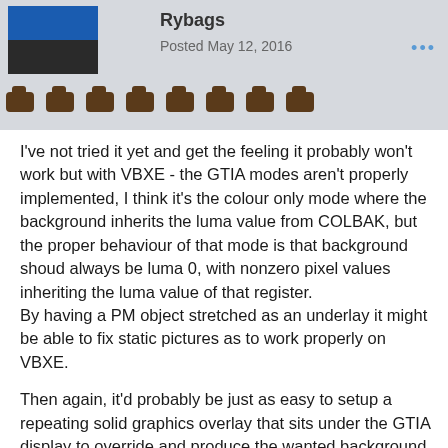Rybags
Posted May 12, 2016
I've not tried it yet and get the feeling it probably won't work but with VBXE - the GTIA modes aren't properly implemented, I think it's the colour only mode where the background inherits the luma value from COLBAK, but the proper behaviour of that mode is that background shoud always be luma 0, with nonzero pixel values inheriting the luma value of that register.
By having a PM object stretched as an underlay it might be able to fix static pictures as to work properly on VBXE.
Then again, it'd probably be just as easy to setup a repeating solid graphics overlay that sits under the GTIA display to override and produce the wanted background colour.